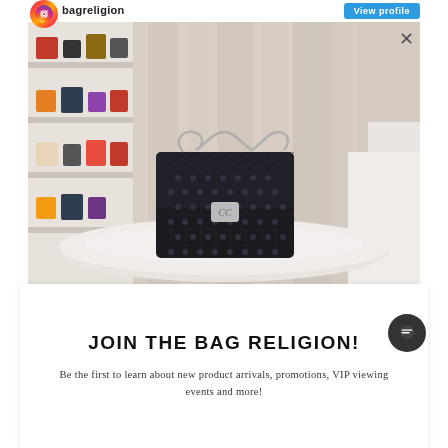bagreligion
[Figure (photo): A black quilted Chanel classic flap bag with silver hardware sitting on a round white marble table. Background shows shelves of luxury handbags in a bright showroom with cream curtains.]
JOIN THE BAG RELIGION!
Be the first to learn about new product arrivals, promotions, VIP viewing events and more!